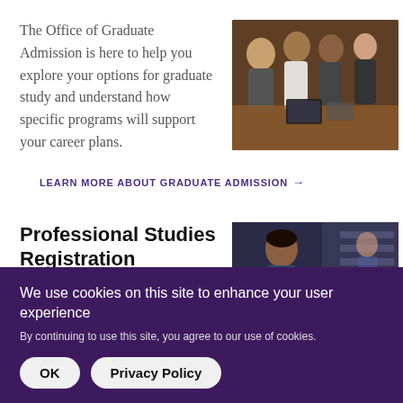The Office of Graduate Admission is here to help you explore your options for graduate study and understand how specific programs will support your career plans.
[Figure (photo): Group of students gathered around a table looking at a laptop or materials, candid photo in warm indoor lighting.]
LEARN MORE ABOUT GRADUATE ADMISSION →
Professional Studies Registration
[Figure (photo): Student in a professional or lab setting, candid photo.]
We use cookies on this site to enhance your user experience
By continuing to use this site, you agree to our use of cookies.
OK   Privacy Policy